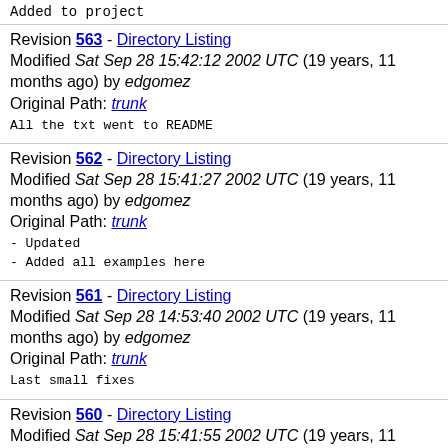Added to project
Revision 563 - Directory Listing
Modified Sat Sep 28 15:42:12 2002 UTC (19 years, 11 months ago) by edgomez
Original Path: trunk
All the txt went to README
Revision 562 - Directory Listing
Modified Sat Sep 28 15:41:27 2002 UTC (19 years, 11 months ago) by edgomez
Original Path: trunk
- Updated
- Added all examples here
Revision 561 - Directory Listing
Modified Sat Sep 28 14:53:40 2002 UTC (19 years, 11 months ago) by edgomez
Original Path: trunk
Last small fixes
Revision 560 - Directory Listing
Modified Sat Sep 28 15:41:55 2002 UTC (19 years, 11 months ago)